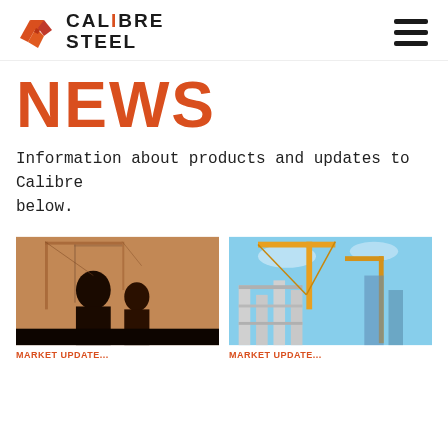[Figure (logo): Calibre Steel logo with red geometric steel shape icon and bold black text CALIBRE STEEL]
[Figure (other): Hamburger menu icon (three horizontal black lines)]
NEWS
Information about products and updates to Calibre below.
[Figure (photo): Silhouette of two construction workers against a sepia-toned background with construction cranes]
[Figure (photo): Construction site with yellow cranes against blue sky, concrete columns and scaffolding]
MARKET UPDATE...
MARKET UPDATE...